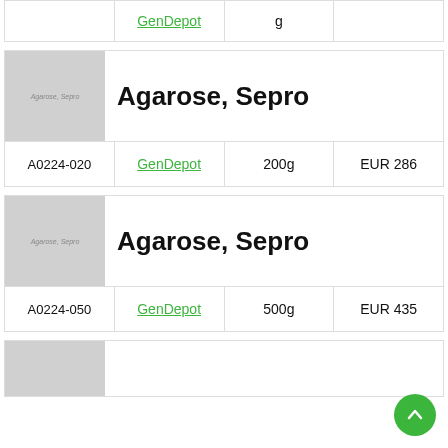|  | GenDepot | g |  |
| --- | --- | --- | --- |
|  | GenDepot | g |  |
[Figure (photo): Placeholder product image for Agarose, Sepro with gray background]
Agarose, Sepro
| A0224-020 | GenDepot | 200g | EUR 286 |
| --- | --- | --- | --- |
| A0224-020 | GenDepot | 200g | EUR 286 |
[Figure (photo): Placeholder product image for Agarose, Sepro with gray background]
Agarose, Sepro
| A0224-050 | GenDepot | 500g | EUR 435 |
| --- | --- | --- | --- |
| A0224-050 | GenDepot | 500g | EUR 435 |
[Figure (photo): Placeholder partial product image at bottom of page]